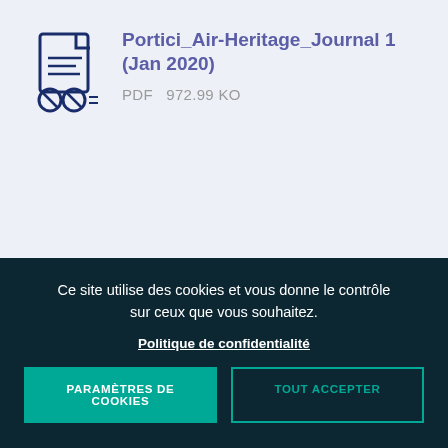[Figure (illustration): Document/file icon with lines representing text and two circular prohibition/overlay symbols at the bottom left]
Portici_Air-Heritage_Journal 1 (Jan 2020)
PDF   972.99 KO
Ce site utilise des cookies et vous donne le contrôle sur ceux que vous souhaitez.
Politique de confidentialité
PARAMÈTRES DE COOKIES
TOUT ACCEPTER